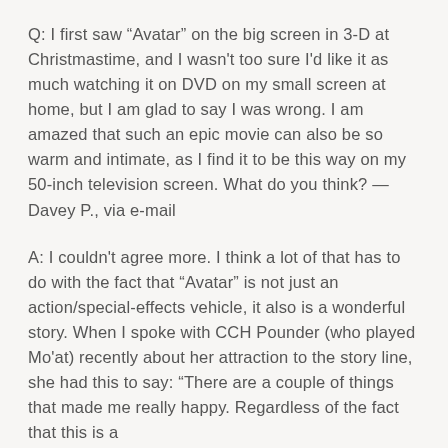Q: I first saw “Avatar” on the big screen in 3-D at Christmastime, and I wasn't too sure I'd like it as much watching it on DVD on my small screen at home, but I am glad to say I was wrong. I am amazed that such an epic movie can also be so warm and intimate, as I find it to be this way on my 50-inch television screen. What do you think? — Davey P., via e-mail
A: I couldn't agree more. I think a lot of that has to do with the fact that “Avatar” is not just an action/special-effects vehicle, it also is a wonderful story. When I spoke with CCH Pounder (who played Mo'at) recently about her attraction to the story line, she had this to say: “There are a couple of things that made me really happy. Regardless of the fact that this is a